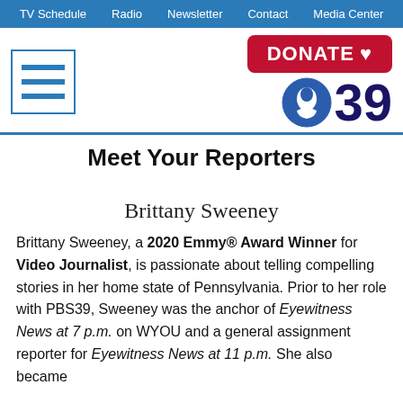TV Schedule   Radio   Newsletter   Contact   Media Center
[Figure (logo): DONATE with heart button (red background) and PBS39 logo with circular PBS head icon]
Meet Your Reporters
Brittany Sweeney
Brittany Sweeney, a 2020 Emmy® Award Winner for Video Journalist, is passionate about telling compelling stories in her home state of Pennsylvania. Prior to her role with PBS39, Sweeney was the anchor of Eyewitness News at 7 p.m. on WYOU and a general assignment reporter for Eyewitness News at 11 p.m. She also became